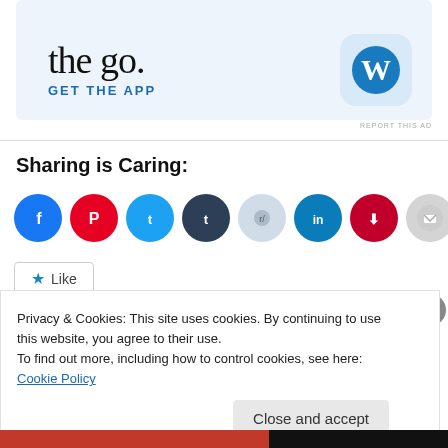[Figure (screenshot): WordPress app advertisement banner with 'the go.' heading text, 'GET THE APP' call to action in blue caps, and WordPress 'W' circular logo icon on a light blue background]
REPORT THIS AD
Sharing is Caring:
[Figure (other): Row of social sharing icon buttons: Facebook (blue), Pinterest (red), Twitter (light blue), Tumblr (dark blue), Reddit (light gray-blue), LinkedIn (teal), Pocket (red), Email (gray), Print (gray)]
Like
Privacy & Cookies: This site uses cookies. By continuing to use this website, you agree to their use.
To find out more, including how to control cookies, see here: Cookie Policy
Close and accept